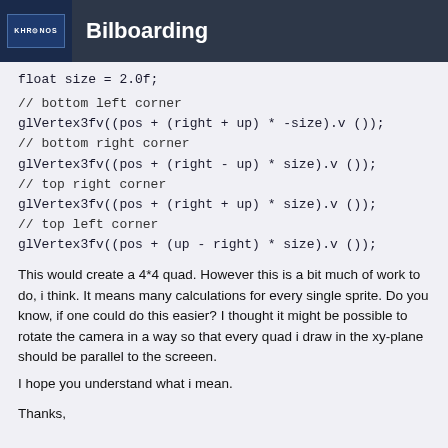Bilboarding
float size = 2.0f;
// bottom left corner
glVertex3fv((pos + (right + up) * -size).v ());
// bottom right corner
glVertex3fv((pos + (right - up) * size).v ());
// top right corner
glVertex3fv((pos + (right + up) * size).v ());
// top left corner
glVertex3fv((pos + (up - right) * size).v ());
This would create a 4*4 quad. However this is a bit much of work to do, i think. It means many calculations for every single sprite. Do you know, if one could do this easier? I thought it might be possible to rotate the camera in a way so that every quad i draw in the xy-plane should be parallel to the screeen.
I hope you understand what i mean.
Thanks,